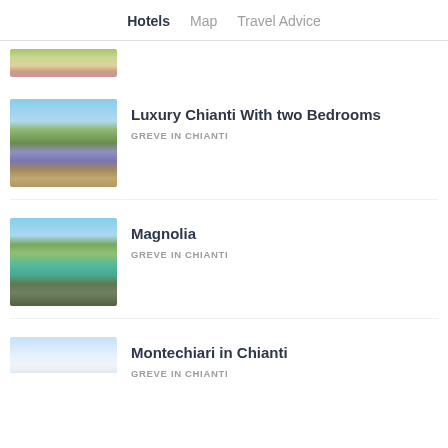Hotels | Map | Travel Advice
[Figure (photo): Partial view of a property exterior with colorful flowers/landscape at top of listing]
[Figure (photo): Exterior of Luxury Chianti villa with lavender field in foreground and trees against blue sky]
Luxury Chianti With two Bedrooms
GREVE IN CHIANTI
[Figure (photo): Magnolia property exterior showing swimming pool, garden with umbrella, stone building, trees]
Magnolia
GREVE IN CHIANTI
[Figure (photo): Montechiari in Chianti property with blue sky visible, partial view at bottom of page]
Montechiari in Chianti
GREVE IN CHIANTI